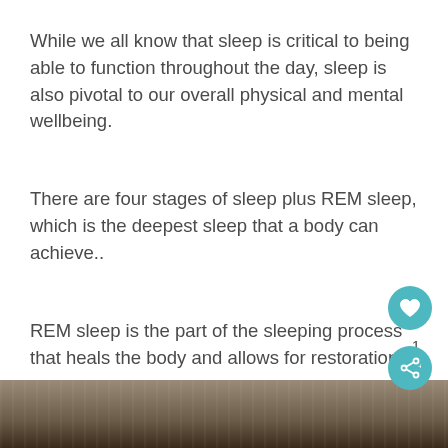While we all know that sleep is critical to being able to function throughout the day, sleep is also pivotal to our overall physical and mental wellbeing.
There are four stages of sleep plus REM sleep, which is the deepest sleep that a body can achieve..
REM sleep is the part of the sleeping process that heals the body and allows for restoration..
[Figure (photo): Partial view of a sleeping animal or person, brown/tan tones, bottom strip of the page]